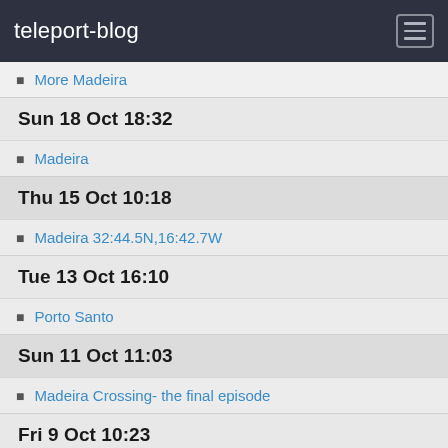teleport-blog
More Madeira
Sun 18 Oct 18:32
Madeira
Thu 15 Oct 10:18
Madeira 32:44.5N,16:42.7W
Tue 13 Oct 16:10
Porto Santo
Sun 11 Oct 11:03
Madeira Crossing- the final episode
Fri 9 Oct 10:23
Madeira Crossing 34:19.6N 13:51.4Wv
Thu 8 Oct 11:09
Madeira crossing second day 35:21.1N 11:48.1W
Wed 7 Oct 07:52
Madeira Crossing first Day 36:05.2N 10:03.2W